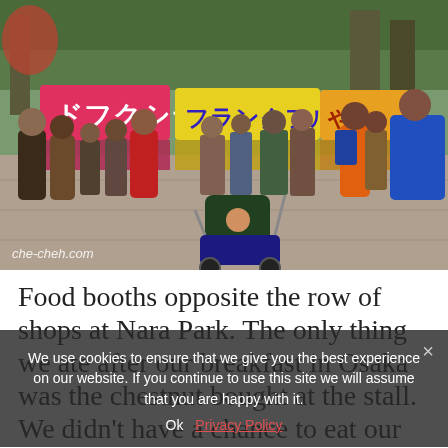[Figure (photo): Outdoor food booth market area at Nara Park, Japan. Colorful banners with Japanese text in pink, yellow, and other colors hang over food stalls. A large crowd of people mill about, dressed in winter clothing. A baby in a stroller with a green canopy is visible in the foreground. Trees are visible in the background. Watermark reads 'che-cheh.com'.]
Food booths opposite the row of shops at Nara Park. The only thing we ate after our breakfast in Osaka was the chestnut bought at the stall. We didn't have a chance to eat our sushi yet (those deer!). But gah, let's buy some food first. Was so hungry and tired.
We use cookies to ensure that we give you the best experience on our website. If you continue to use this site we will assume that you are happy with it.